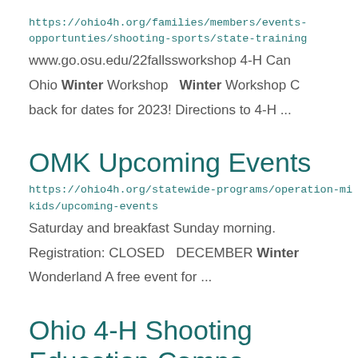https://ohio4h.org/families/members/events-opportunties/shooting-sports/state-training
www.go.osu.edu/22fallssworkshop 4-H Can
Ohio Winter Workshop  Winter Workshop C
back for dates for 2023! Directions to 4-H ...
OMK Upcoming Events
https://ohio4h.org/statewide-programs/operation-military-kids/upcoming-events
Saturday and breakfast Sunday morning.
Registration: CLOSED  DECEMBER Winter
Wonderland A free event for ...
Ohio 4-H Shooting Education Camps
https://ohio4h.org/families/members/events-opportunties/shooting-sports/4-h-shooting-ed-cam